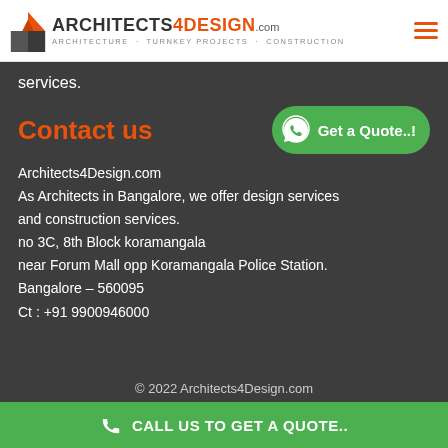ARCHITECTS 4DESIGN.com — ARCHITECTURE · TURNKEY PROJECTS · CONSTRUCTION
services.
Contact us
[Figure (logo): WhatsApp button with text 'Get a Quote..!']
Architects4Design.com
As Architects in Bangalore, we offer design services and construction services.
no 3C, 8th Block koramangala
near Forum Mall opp Koramangala Police Station.
Bangalore – 560095
Ct : +91 9900946000
© 2022 Architects4Design.com
CALL US TO GET A QUOTE..